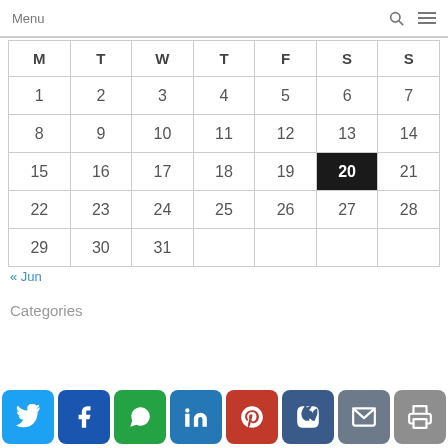Menu
| M | T | W | T | F | S | S |
| --- | --- | --- | --- | --- | --- | --- |
| 1 | 2 | 3 | 4 | 5 | 6 | 7 |
| 8 | 9 | 10 | 11 | 12 | 13 | 14 |
| 15 | 16 | 17 | 18 | 19 | 20 | 21 |
| 22 | 23 | 24 | 25 | 26 | 27 | 28 |
| 29 | 30 | 31 |  |  |  |  |
« Jun
Categories
[Figure (other): Social sharing buttons: Twitter, Facebook, WhatsApp, LinkedIn, Pinterest, VK, Email, Print, Scroll-to-top]